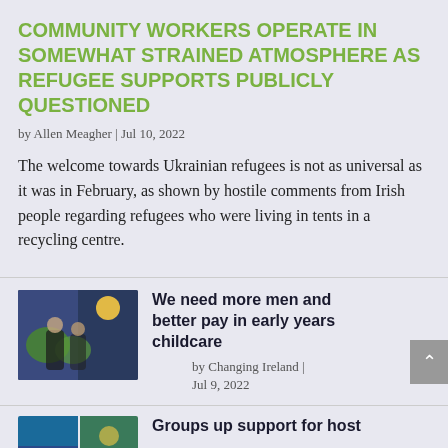COMMUNITY WORKERS OPERATE IN SOMEWHAT STRAINED ATMOSPHERE AS REFUGEE SUPPORTS PUBLICLY QUESTIONED
by Allen Meagher | Jul 10, 2022
The welcome towards Ukrainian refugees is not as universal as it was in February, as shown by hostile comments from Irish people regarding refugees who were living in tents in a recycling centre.
[Figure (photo): Thumbnail photo of two people standing in front of a colorful painted wall]
We need more men and better pay in early years childcare
by Changing Ireland | Jul 9, 2022
[Figure (photo): Thumbnail collage of two small images at the bottom of the page]
Groups up support for host